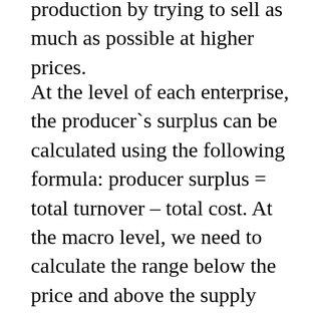production by trying to sell as much as possible at higher prices.
At the level of each enterprise, the producer`s surplus can be calculated using the following formula: producer surplus = total turnover – total cost. At the macro level, we need to calculate the range below the price and above the supply curve. This is similar to how you would calculate the area of a triangle: the size of the producer`s surplus and its triangular representation in the graph increase as the market price for the good increases, and decreases when the market price for the good decreases. Consumer surplus refers to the monetary gain a buyer makes when he buys a product at a lower price than he would normally be willing to pay. Each corresponding unit product price along the supply curve is called marginal cost (MC) marginal costThe marginal cost